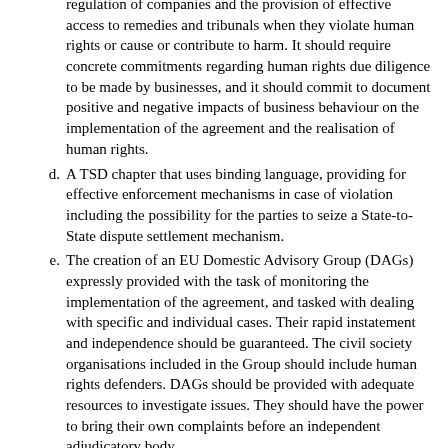regulation of companies and the provision of effective access to remedies and tribunals when they violate human rights or cause or contribute to harm. It should require concrete commitments regarding human rights due diligence to be made by businesses, and it should commit to document positive and negative impacts of business behaviour on the implementation of the agreement and the realisation of human rights.
d. A TSD chapter that uses binding language, providing for effective enforcement mechanisms in case of violation including the possibility for the parties to seize a State-to-State dispute settlement mechanism.
e. The creation of an EU Domestic Advisory Group (DAGs) expressly provided with the task of monitoring the implementation of the agreement, and tasked with dealing with specific and individual cases. Their rapid instatement and independence should be guaranteed. The civil society organisations included in the Group should include human rights defenders. DAGs should be provided with adequate resources to investigate issues. They should have the power to bring their own complaints before an independent adjudicatory body.
f. A provision barring foreign investors from the protection of the investment chapter where there is sufficient evidence of direct or indirect violation of their own national laws and their